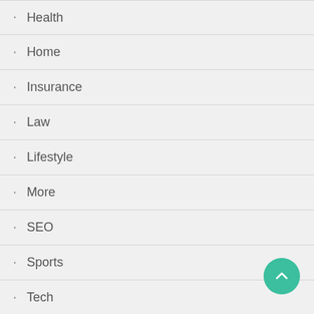Health
Home
Insurance
Law
Lifestyle
More
SEO
Sports
Tech
Technology
Travel